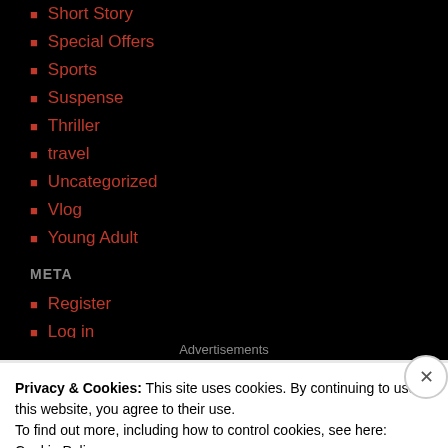Short Story
Special Offers
Sports
Suspense
Thriller
travel
Uncategorized
Vlog
Young Adult
META
Register
Log in
Entries feed
Comments feed
WordPress.com
Advertisements
Privacy & Cookies: This site uses cookies. By continuing to use this website, you agree to their use.
To find out more, including how to control cookies, see here: Cookie Policy
Close and accept